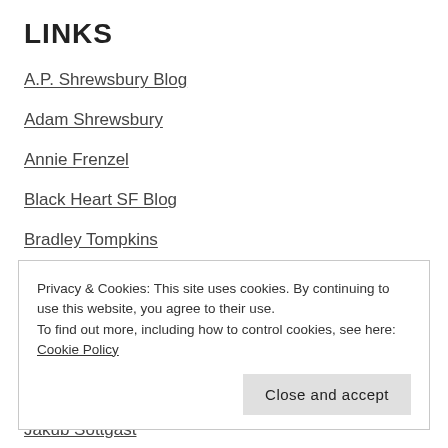LINKS
A.P. Shrewsbury Blog
Adam Shrewsbury
Annie Frenzel
Black Heart SF Blog
Bradley Tompkins
Chris O'Donnell
Dan Santoro
Daniel Trocchio – Mise en abyme
Deno
Privacy & Cookies: This site uses cookies. By continuing to use this website, you agree to their use.
To find out more, including how to control cookies, see here: Cookie Policy
Jakub Sottgast